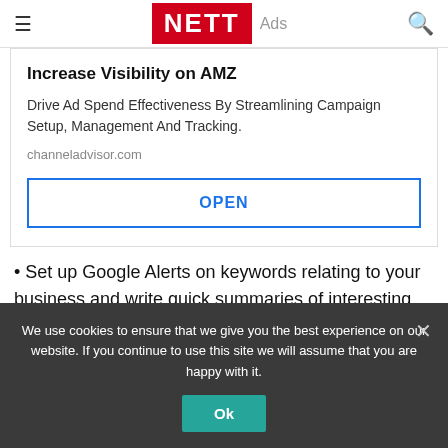≡ NETT Ads 🔍
Increase Visibility on AMZ
Drive Ad Spend Effectiveness By Streamlining Campaign Setup, Management And Tracking.
channeladvisor.com
OPEN
• Set up Google Alerts on keywords relating to your business and write quick summaries of interesting, relevant stories that
We use cookies to ensure that we give you the best experience on our website. If you continue to use this site we will assume that you are happy with it.